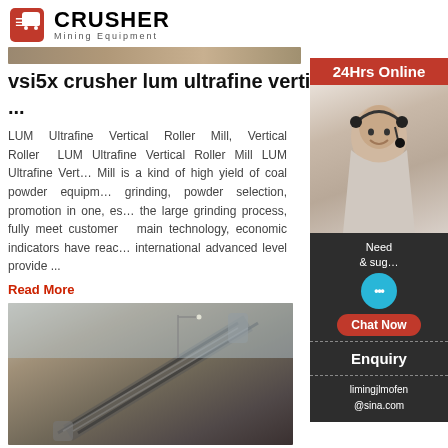[Figure (logo): Crusher Mining Equipment logo with red shopping bag icon and bold CRUSHER text]
[Figure (photo): Partial top image of mining equipment, cropped]
vsi5x crusher lum ultrafine vertical roller mill ...
LUM Ultrafine Vertical Roller Mill, Vertical Roller LUM Ultrafine Vertical Roller Mill LUM Ultrafine Vertical Mill is a kind of high yield of coal powder equipment grinding, powder selection, promotion in one, es the large grinding process, fully meet customer main technology, economic indicators have reac international advanced level provide ...
Read More
[Figure (photo): Photo of a conveyor belt system at a mining or quarry site]
LUM Ultrafine Vertical Roller Mill Market
[Figure (other): Sidebar with 24Hrs Online, customer service representative photo, chat section with Need & suggestions, Chat Now button, Enquiry section, and limingjlmofen@sina.com email]